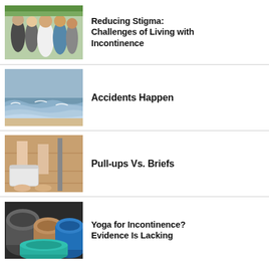[Figure (photo): Group of diverse adults smiling together outdoors, including older and younger individuals]
Reducing Stigma: Challenges of Living with Incontinence
[Figure (photo): Ocean waves washing onto a beach shore]
Accidents Happen
[Figure (photo): Person pulling up or adjusting adult incontinence brief/pull-up near their ankles on a wooden floor]
Pull-ups Vs. Briefs
[Figure (photo): Rolled up yoga mats in various colors including blue, teal, and brown]
Yoga for Incontinence? Evidence Is Lacking